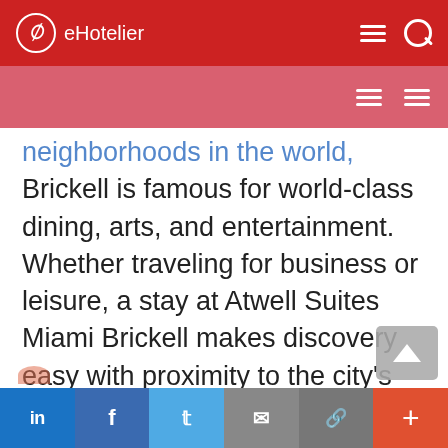eHotelier
neighborhoods in the world, Brickell is famous for world-class dining, arts, and entertainment. Whether traveling for business or leisure, a stay at Atwell Suites Miami Brickell makes discovery easy with proximity to the city's best shopping, nightlife, restaurants, and attractions, as well as the Port of Miami, FTX Arena, and Miami Metro rail.